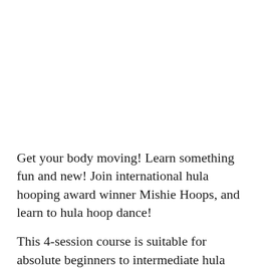⁣Get your body moving! Learn something fun and new! Join international hula hooping award winner Mishie Hoops, and learn to hula hoop dance!⁣
⁣This 4-session course is suitable for absolute beginners to intermediate hula hoopers. We will explore on-body & off-body hooping, tricks, transitions and create easy hoop-